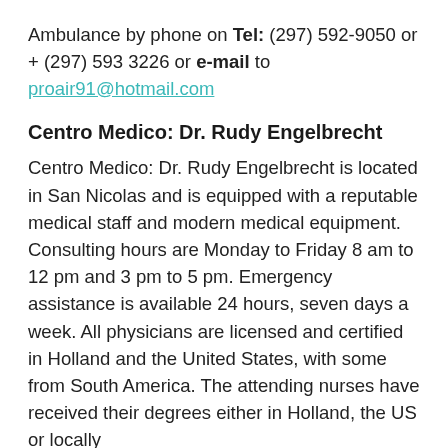Ambulance by phone on Tel: (297) 592-9050 or + (297) 593 3226 or e-mail to proair91@hotmail.com
Centro Medico: Dr. Rudy Engelbrecht
Centro Medico: Dr. Rudy Engelbrecht is located in San Nicolas and is equipped with a reputable medical staff and modern medical equipment. Consulting hours are Monday to Friday 8 am to 12 pm and 3 pm to 5 pm. Emergency assistance is available 24 hours, seven days a week. All physicians are licensed and certified in Holland and the United States, with some from South America. The attending nurses have received their degrees either in Holland, the US or locally